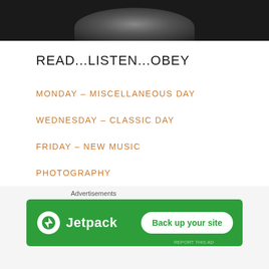[Figure (photo): Dark background header image with partial silhouette/photo visible at the top of the page]
READ...LISTEN...OBEY
MONDAY – MISCELLANEOUS DAY
WEDNESDAY – CLASSIC DAY
FRIDAY – NEW MUSIC
PHOTOGRAPHY
STREAMS
MERCH
Advertisements
[Figure (screenshot): Jetpack advertisement banner with green background, Jetpack logo on left and 'Back up your site' white button on right]